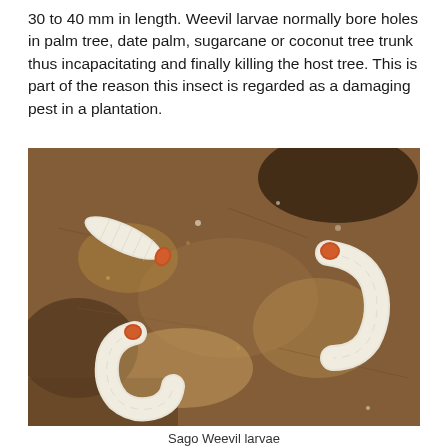30 to 40 mm in length. Weevil larvae normally bore holes in palm tree, date palm, sugarcane or coconut tree trunk thus incapacitating and finally killing the host tree. This is part of the reason this insect is regarded as a damaging pest in a plantation.
[Figure (photo): Close-up photograph of three white weevil larvae with orange heads, lying in brown fibrous material that appears to be decayed wood or plant matter from inside a palm tree trunk.]
Sago Weevil larvae